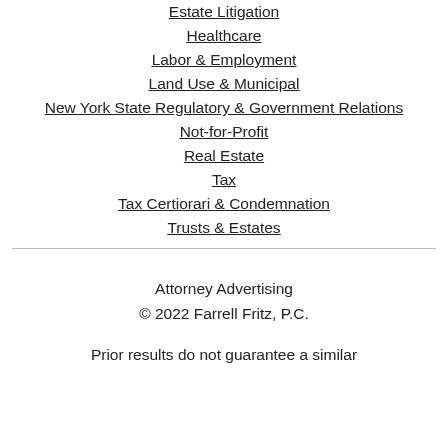Estate Litigation
Healthcare
Labor & Employment
Land Use & Municipal
New York State Regulatory & Government Relations
Not-for-Profit
Real Estate
Tax
Tax Certiorari & Condemnation
Trusts & Estates
Attorney Advertising
© 2022 Farrell Fritz, P.C.
Prior results do not guarantee a similar